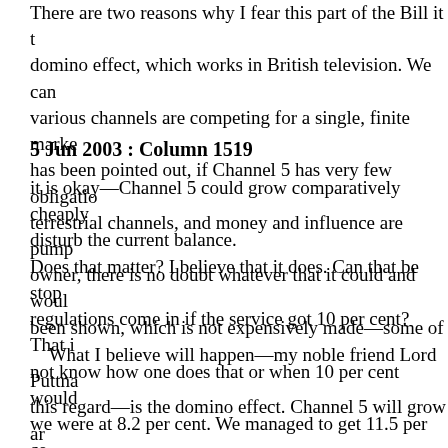There are two reasons why I fear this part of the Bill it the domino effect, which works in British television. We can various channels are competing for a single, finite marke has been pointed out, if Channel 5 has very few obligatio terrestrial channels, and money and influence are pump owner, there is no doubt whatever that it could and woul been shown, which is not expensively made—some of
5 Jun 2003 : Column 1519
it is okay—Channel 5 could grow comparatively cheaply disturb the current balance. Does that matter? I believe that it does. Can that be sto regulations come in if the service got 10 per cent? That i not know how one does that or when 10 per cent would we were at 8.2 per cent. We managed to get 11.5 per ce what we showed. We should not forget the situation bac years. I do not believe that the ratchet effect would work ratchet effect on someone who was determined to make growing. I do not believe that a ratchet will work; it is a n
What I believe will happen—my noble friend Lord Puttn this regard—is the domino effect. Channel 5 will grow a Channel 3, which is where it will try to get its audiences. have to fight back. The way to do that is to do two things offloads the cumbersome and expensive programmes, w responsibilities and gives more and more